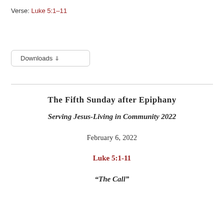Verse: Luke 5:1–11
Tweet
Downloads
The Fifth Sunday after Epiphany
Serving Jesus-Living in Community 2022
February 6, 2022
Luke 5:1-11
“The Call”